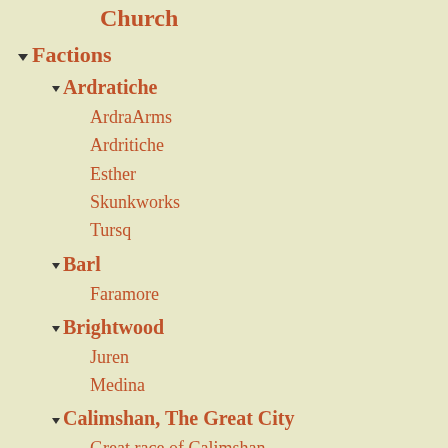Church
Factions
Ardratiche
ArdraArms
Ardritiche
Esther
Skunkworks
Tursq
Barl
Faramore
Brightwood
Juren
Medina
Calimshan, The Great City
Great race of Calimshan
Cannarde
Edris
Cloud Spires
Church of Sun & Scroll
Church of Sun and Scroll